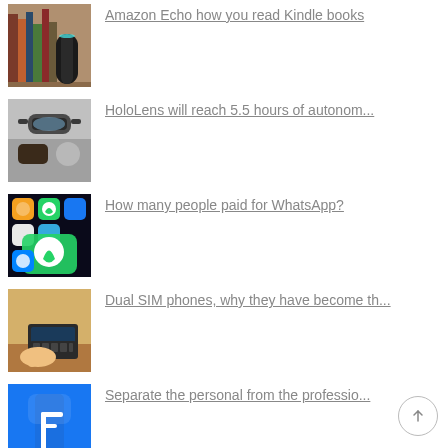[Figure (photo): Books on a shelf with a dark cylindrical object (Amazon Echo) in front]
Amazon Echo how you read Kindle books
[Figure (photo): Person wearing HoloLens augmented reality headset]
HoloLens will reach 5.5 hours of autonom...
[Figure (photo): Smartphone screen showing WhatsApp and other app icons]
How many people paid for WhatsApp?
[Figure (photo): Person typing on a smartphone/tablet device on a wooden surface]
Dual SIM phones, why they have become th...
[Figure (photo): Facebook app icon on a device screen]
Separate the personal from the professio...